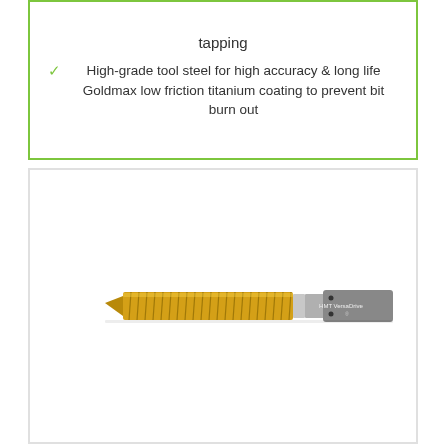tapping
High-grade tool steel for high accuracy & long life Goldmax low friction titanium coating to prevent bit burn out
[Figure (photo): Gold titanium-coated thread tap with HMT VersaDrive shank, shown horizontally against white background]